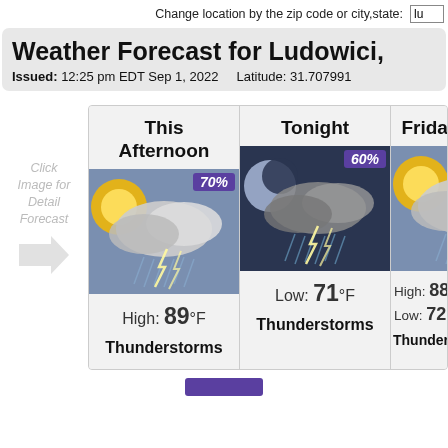Change location by the zip code or city,state:
Weather Forecast for Ludowici,
Issued: 12:25 pm EDT Sep 1, 2022   Latitude: 31.707991
Click Image for Detail Forecast
[Figure (illustration): Thunderstorm weather icon for This Afternoon with 70% precipitation badge]
This Afternoon
High: 89°F
Thunderstorms
[Figure (illustration): Thunderstorm weather icon for Tonight with 60% precipitation badge]
Tonight
Low: 71°F
Thunderstorms
[Figure (illustration): Thunderstorm weather icon for Friday with 6?% precipitation badge]
Friday
High: 88°
Low: 72°
Thunderstorms